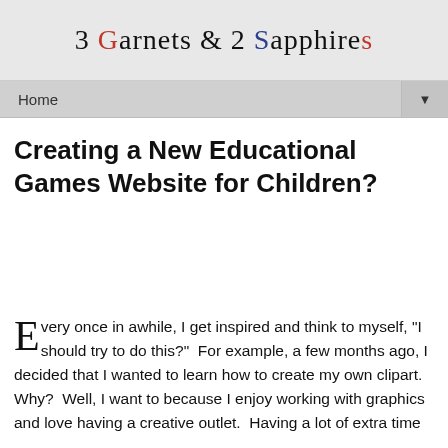3 Garnets & 2 Sapphires
Home
Creating a New Educational Games Website for Children?
Every once in awhile, I get inspired and think to myself, "I should try to do this?"  For example, a few months ago, I decided that I wanted to learn how to create my own clipart.  Why?  Well, I want to because I enjoy working with graphics and love having a creative outlet.  Having a lot of extra time